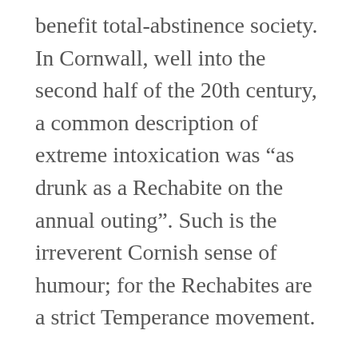benefit total-abstinence society. In Cornwall, well into the second half of the 20th century, a common description of extreme intoxication was “as drunk as a Rechabite on the annual outing”. Such is the irreverent Cornish sense of humour; for the Rechabites are a strict Temperance movement.
(6) John Barly Corn is an anecdotal reference to the demon drink derived from songs penned by numerous composers.